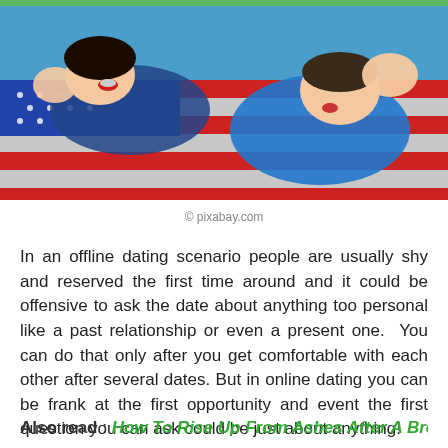[Figure (photo): Two people lying on an American flag, one in a blue shirt, photographed from above. A couple lying together outdoors.]
© pixabay.com
In an offline dating scenario people are usually shy and reserved the first time around and it could be offensive to ask the date about anything too personal like a past relationship or even a present one.  You can do that only after you get comfortable with each other after several dates. But in online dating you can be frank at the first opportunity and event the first question you can ask could be just about anything!
Also read : How To Rise Up From Ashes After A Break…